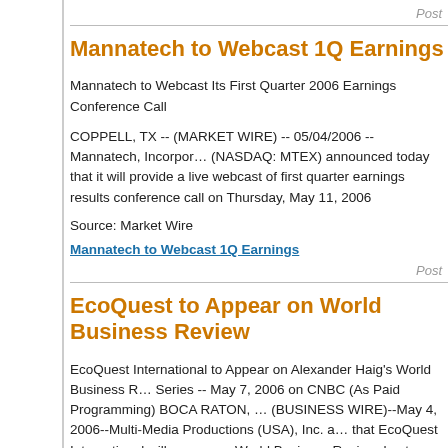Post
Mannatech to Webcast 1Q Earnings
Mannatech to Webcast Its First Quarter 2006 Earnings Conference Call
COPPELL, TX -- (MARKET WIRE) -- 05/04/2006 -- Mannatech, Incorporated (NASDAQ: MTEX) announced today that it will provide a live webcast of its first quarter earnings results conference call on Thursday, May 11, 2006
Source: Market Wire
Mannatech to Webcast 1Q Earnings
Post
EcoQuest to Appear on World Business Review
EcoQuest International to Appear on Alexander Haig's World Business Review Series -- May 7, 2006 on CNBC (As Paid Programming) BOCA RATON, (BUSINESS WIRE)--May 4, 2006--Multi-Media Productions (USA), Inc. announced that EcoQuest International will appear on World Business Review, hosted
Source: Business Wire